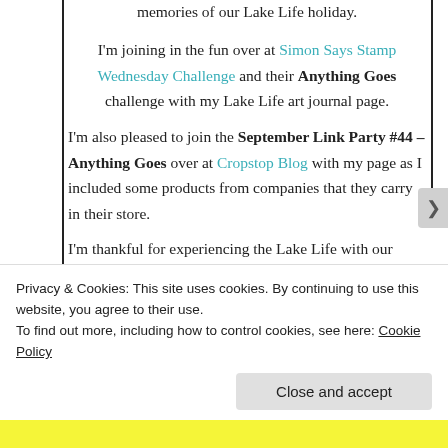memories of our Lake Life holiday.
I'm joining in the fun over at Simon Says Stamp Wednesday Challenge and their Anything Goes challenge with my Lake Life art journal page.
I'm also pleased to join the September Link Party #44 – Anything Goes over at Cropstop Blog with my page as I included some products from companies that they carry in their store.
I'm thankful for experiencing the Lake Life with our
Privacy & Cookies: This site uses cookies. By continuing to use this website, you agree to their use.
To find out more, including how to control cookies, see here: Cookie Policy
Close and accept